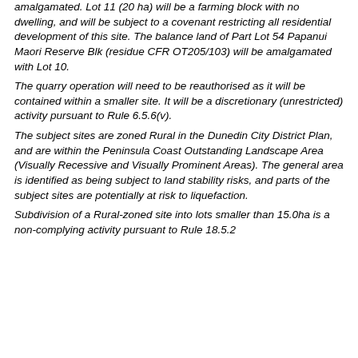amalgamated. Lot 11 (20 ha) will be a farming block with no dwelling, and will be subject to a covenant restricting all residential development of this site. The balance land of Part Lot 54 Papanui Maori Reserve Blk (residue CFR OT205/103) will be amalgamated with Lot 10.
The quarry operation will need to be reauthorised as it will be contained within a smaller site. It will be a discretionary (unrestricted) activity pursuant to Rule 6.5.6(v).
The subject sites are zoned Rural in the Dunedin City District Plan, and are within the Peninsula Coast Outstanding Landscape Area (Visually Recessive and Visually Prominent Areas). The general area is identified as being subject to land stability risks, and parts of the subject sites are potentially at risk to liquefaction.
Subdivision of a Rural-zoned site into lots smaller than 15.0ha is a non-complying activity pursuant to Rule 18.5.2